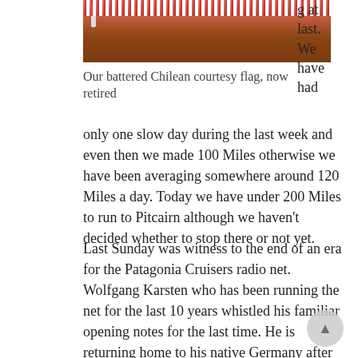[Figure (photo): A battered red Chilean courtesy flag close-up, partially visible at top of page]
Our battered Chilean courtesy flag, now retired
g at last. We have had only one slow day during the last week and even then we made 100 Miles otherwise we have been averaging somewhere around 120 Miles a day. Today we have under 200 Miles to run to Pitcairn although we haven't decided whether to stop there or not yet.
Last Sunday was witness to the end of an era for the Patagonia Cruisers radio net. Wolfgang Karsten who has been running the net for the last 10 years whistled his familiar opening notes for the last time. He is returning home to his native Germany after many years in South America. He told us that over the 10 years that he has run the net he has spoken to over 250 boats from countries all over the world. He has provided a daily link